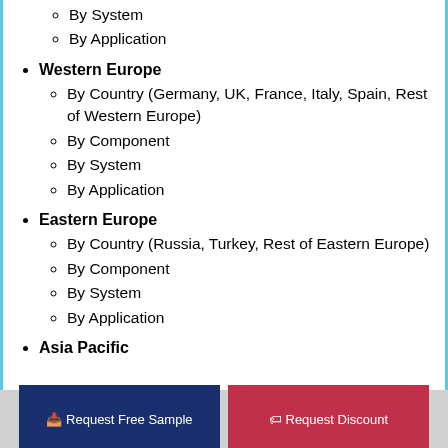By System
By Application
Western Europe
By Country (Germany, UK, France, Italy, Spain, Rest of Western Europe)
By Component
By System
By Application
Eastern Europe
By Country (Russia, Turkey, Rest of Eastern Europe)
By Component
By System
By Application
Asia Pacific
Request Free Sample
Request Discount